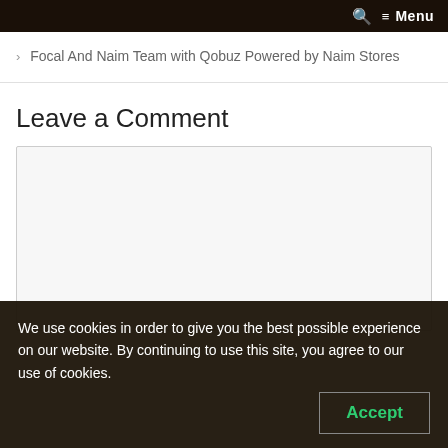🔍  ☰ Menu
> Focal And Naim Team with Qobuz Powered by Naim Stores
Leave a Comment
We use cookies in order to give you the best possible experience on our website. By continuing to use this site, you agree to our use of cookies.
Accept